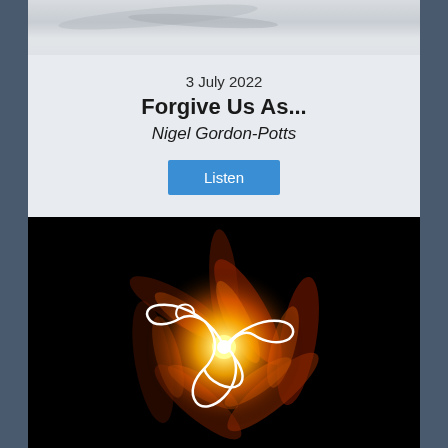[Figure (photo): Marble stone texture banner at top of card]
3 July 2022
Forgive Us As...
Nigel Gordon-Potts
Listen
[Figure (illustration): Dark background with glowing dove silhouette outline in white, surrounded by orange and red flame-like light rays emanating from a bright golden central point]